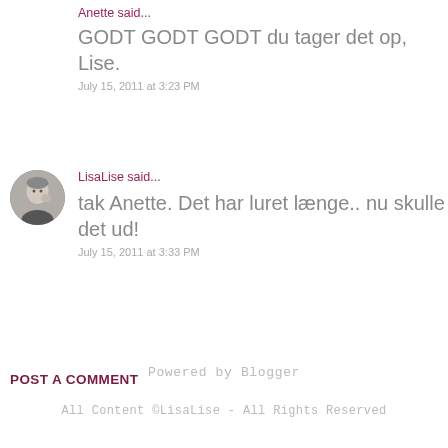Anette said...
GODT GODT GODT du tager det op, Lise.
July 15, 2011 at 3:23 PM
[Figure (photo): Small circular avatar photo of LisaLise, a woman with short grey hair]
LisaLise said...
tak Anette. Det har luret længe.. nu skulle det ud!
July 15, 2011 at 3:33 PM
POST A COMMENT
Powered by Blogger
All Content ©LisaLise - All Rights Reserved